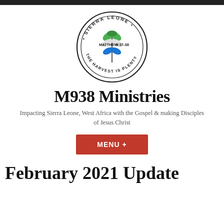[Figure (logo): Sierra Leone M938 Ministries circular logo with a wheat/plant stalk in green and blue, text reading 'SIERRA LEONE' at top, 'MATTHEW 9:37-38' in center, and 'THE HARVEST IS PLENTY' at bottom]
M938 Ministries
Impacting Sierra Leone, West Africa with the Gospel & making Disciples of Jesus Christ
MENU +
February 2021 Update